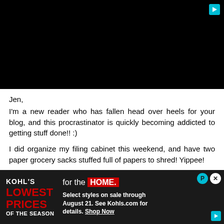[Figure (screenshot): Black video player area with a teal play/forward icon in top-right corner]
Jen,
I'm a new reader who has fallen head over heels for your blog, and this procrastinator is quickly becoming addicted to getting stuff done!! :)

I did organize my filing cabinet this weekend, and have two paper grocery sacks stuffed full of papers to shred! Yippee!

I do have a couple questions tho, that I came across while getting my organization on. Where do you store info that
[Figure (screenshot): Kohl's advertisement banner: black background, 'KOHL'S' text, 'LOWEST PRICES OF THE SEASON' in red, 'for the HOME.' tagline, details about sale through August 21 on Kohls.com, close and P buttons top right, Shop Now link]